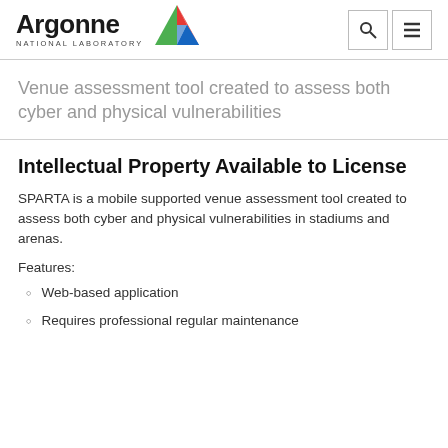[Figure (logo): Argonne National Laboratory logo with colorful triangle and text]
Venue assessment tool created to assess both cyber and physical vulnerabilities
Intellectual Property Available to License
SPARTA is a mobile supported venue assessment tool created to assess both cyber and physical vulnerabilities in stadiums and arenas.
Features:
Web-based application
Requires professional regular maintenance